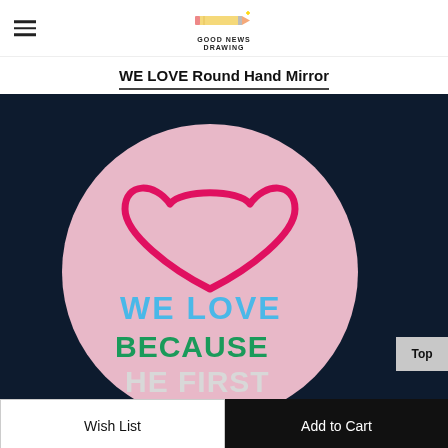Good News Drawing
WE LOVE Round Hand Mirror
[Figure (photo): A round pink hand mirror on a dark navy background. The mirror has a hand-drawn red/pink heart outline and the text 'WE LOVE BECAUSE HE FIRST' in blue and green letters.]
Wish List
Add to Cart